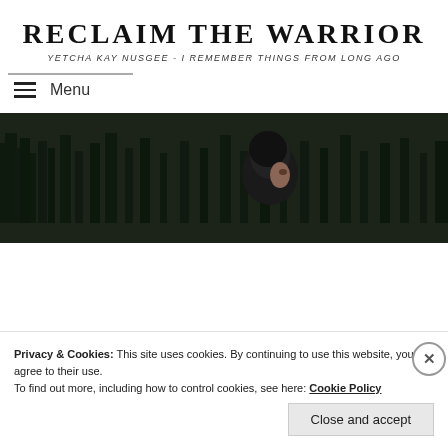RECLAIM THE WARRIOR
YETCHA KAY NUSGEE - I REMEMBER THINGS FROM LONG AGO
Menu
[Figure (photo): A person with dark hair seen from behind or side against a dark forested background]
Privacy & Cookies: This site uses cookies. By continuing to use this website, you agree to their use.
To find out more, including how to control cookies, see here: Cookie Policy
Close and accept